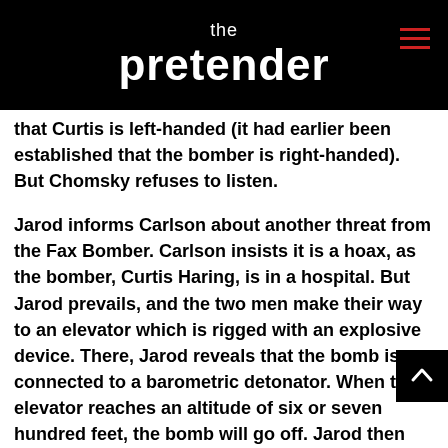the pretender
that Curtis is left-handed (it had earlier been established that the bomber is right-handed).  But Chomsky refuses to listen.
Jarod informs Carlson about another threat from the Fax Bomber.  Carlson insists it is a hoax, as the bomber, Curtis Haring, is in a hospital.  But Jarod prevails, and the two men make their way to an elevator which is rigged with an explosive device.  There, Jarod reveals that the bomb is connected to a barometric detonator.  When the elevator reaches an altitude of six or seven hundred feet, the bomb will go off.  Jarod then accuses Carlson of being the bomber and extricates himself from the elevator.  Carlson panics as the elevator climbs steadily upward, certain it will explode at any minute.  But when the elevator reaches its destination, an electronic voice says, “Kaboom!”  When the elevator